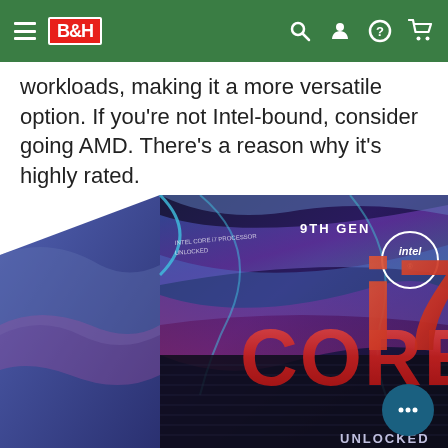B&H [navigation bar with search, account, help, and cart icons]
workloads, making it a more versatile option. If you're not Intel-bound, consider going AMD. There's a reason why it's highly rated.
[Figure (photo): Intel Core i7 9th Gen Unlocked processor retail box packaging, showing the blue and purple swirling design with large red CORE i7 text and UNLOCKED label, with the Intel logo circle in upper right corner.]